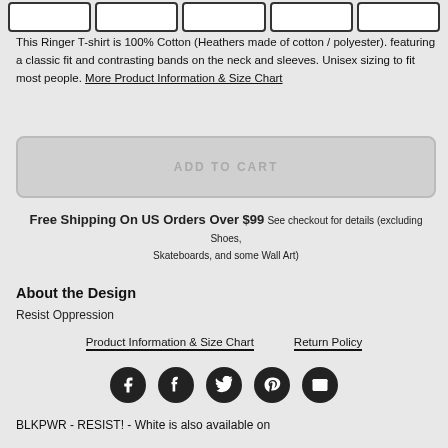[Figure (other): Row of size selector boxes (empty/unselected) at top of page]
This Ringer T-shirt is 100% Cotton (Heathers made of cotton / polyester). featuring a classic fit and contrasting bands on the neck and sleeves. Unisex sizing to fit most people. More Product Information & Size Chart
ADD TO CART
Free Shipping On US Orders Over $99 See checkout for details (excluding Shoes, Skateboards, and some Wall Art)
About the Design
Resist Oppression
Product Information & Size Chart   Return Policy
[Figure (other): Row of five social media icon circles: Facebook, Tumblr, Twitter, Pinterest, Email]
BLKPWR - RESIST! - White is also available on